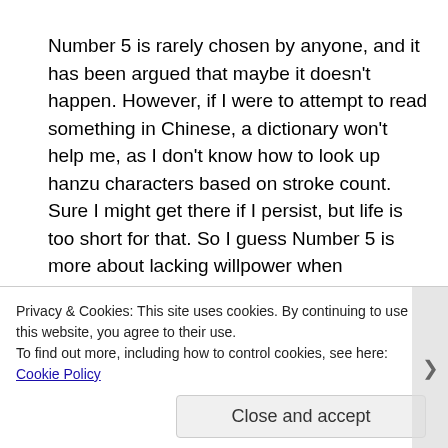Number 5 is rarely chosen by anyone, and it has been argued that maybe it doesn't happen. However, if I were to attempt to read something in Chinese, a dictionary won't help me, as I don't know how to look up hanzu characters based on stroke count. Sure I might get there if I persist, but life is too short for that. So I guess Number 5 is more about lacking willpower when encountering very difficult text.
In terms of optimal language learning, ratings of 2-3 are...
Privacy & Cookies: This site uses cookies. By continuing to use this website, you agree to their use. To find out more, including how to control cookies, see here: Cookie Policy
Close and accept